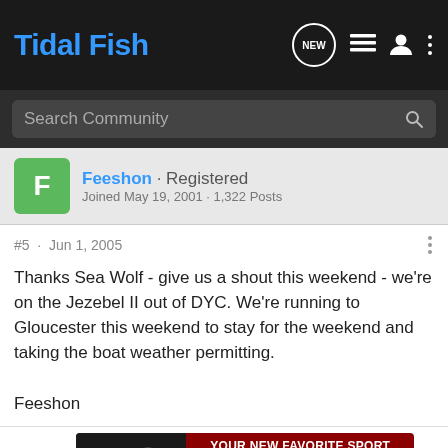Tidal Fish
Search Community
Feeshon · Registered
Joined May 19, 2001 · 1,322 Posts
#5 · Jun 1, 2005
Thanks Sea Wolf - give us a shout this weekend - we're on the Jezebel II out of DYC. We're running to Gloucester this weekend to stay for the weekend and taking the boat weather permitting.

Feeshon
Feeshon
[Figure (screenshot): Advertisement banner: YOUR NEW FAVORITE SPORT - EXPLORE HOW TO RESPONSIBLY PARTICIPATE IN THE SHOOTING SPORTS. START HERE!]